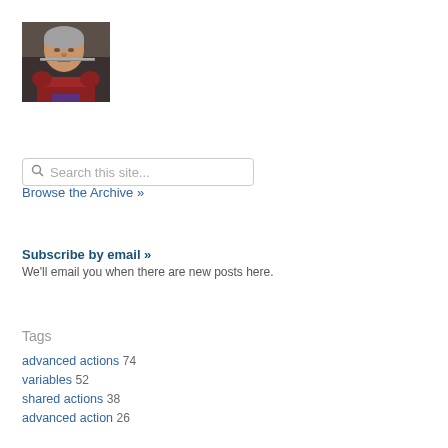[Figure (photo): Profile photo of a person playing a flute or similar wind instrument, wearing a red/maroon top, photographed indoors.]
Search this site...
Browse the Archive »
Subscribe by email »
We'll email you when there are new posts here.
Tags
advanced actions 74
variables 52
shared actions 38
advanced action 26